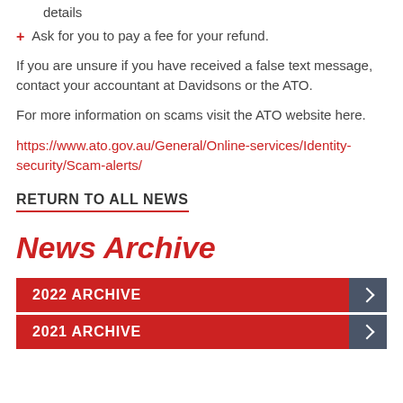details
+ Ask for you to pay a fee for your refund.
If you are unsure if you have received a false text message, contact your accountant at Davidsons or the ATO.
For more information on scams visit the ATO website here.
https://www.ato.gov.au/General/Online-services/Identity-security/Scam-alerts/
RETURN TO ALL NEWS
News Archive
2022 ARCHIVE
2021 ARCHIVE